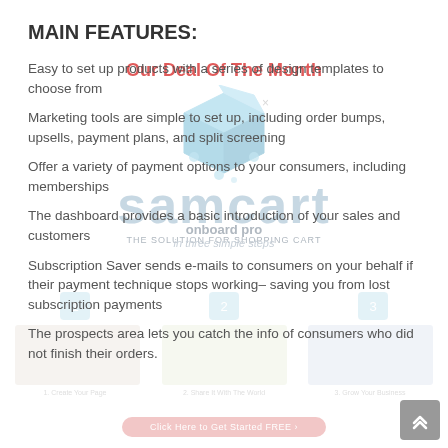MAIN FEATURES:
Easy to set up products with a series of design templates to choose from
Marketing tools are simple to set up, including order bumps, upsells, payment plans, and split screening
Offer a variety of payment options to your consumers, including memberships
The dashboard provides a basic introduction of your sales and customers
Subscription Saver sends e-mails to consumers on your behalf if their payment technique stops working– saving you from lost subscription payments
The prospects area lets you catch the info of consumers who did not finish their orders.
[Figure (screenshot): SamCart promotional overlay image with logo, box graphic, 'Our Deal Of The Month' text, onboard steps banner, and 'Click Here to Get Started FREE' button]